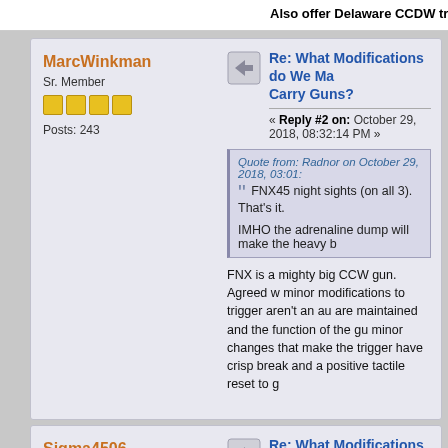Also offer Delaware CCDW training.  PM me fo
MarcWinkman
Sr. Member
Posts: 243
Re: What Modifications do We Ma Carry Guns?
« Reply #2 on: October 29, 2018, 08:32:14 PM »
Quote from: Radnor on October 29, 2018, 03:01:
FNX45 night sights (on all 3).  That's it.
IMHO the adrenaline dump will make the heavy b
FNX is a mighty big CCW gun.  Agreed w minor modifications to trigger aren't an au are maintained and the function of the gu minor changes that make the trigger have crisp break and a positive tactile reset to g
Sigma4506
Member
Posts: 32
Re: What Modifications do We Ma Carry Guns?
« Reply #3 on: October 29, 2018, 10:12:41 PM »
Wow interesting everyone i tell i dropped your Nuts if you carry that - You ll be the 1